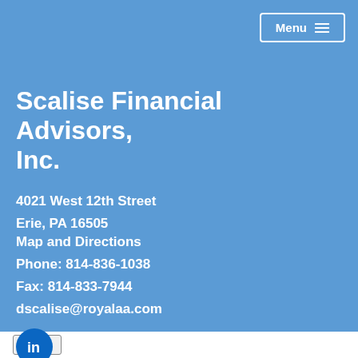Menu
Scalise Financial Advisors, Inc.
4021 West 12th Street
Erie, PA 16505
Map and Directions
Phone: 814-836-1038
Fax: 814-833-7944
dscalise@royalaa.com
[Figure (logo): LinkedIn logo icon — circular teal/blue background with white 'in' text]
Print